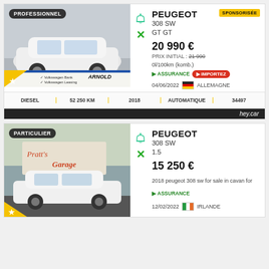[Figure (photo): White Peugeot 308 SW car listing photo with PROFESSIONNEL badge and Arnold dealer banner]
PEUGEOT 308 SW GT GT
20 990 €
PRIX INITIAL : 21990
0l/100km (komb.)
ASSURANCE IMPORTEZ
04/06/2022 ALLEMAGNE
SPONSORISÉE
DIESEL | 52 250 KM | 2018 | AUTOMATIQUE | 34497
hey.car
[Figure (photo): White Peugeot 308 SW at Pratt's Garage with PARTICULIER badge]
PEUGEOT 308 SW 1.5
15 250 €
2018 peugeot 308 sw for sale in cavan for
ASSURANCE
12/02/2022 IRLANDE